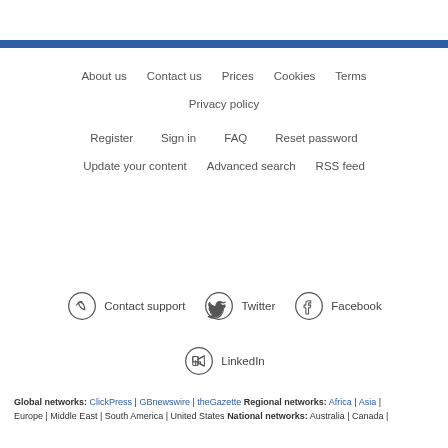About us | Contact us | Prices | Cookies | Terms
Privacy policy
Register | Sign in | FAQ | Reset password
Update your content | Advanced search | RSS feed
Contact support | Twitter | Facebook
LinkedIn
Global networks: ClickPress | GBnewswire | theGazette Regional networks: Africa | Asia | Europe | Middle East | South America | United States National networks: Australia | Canada |